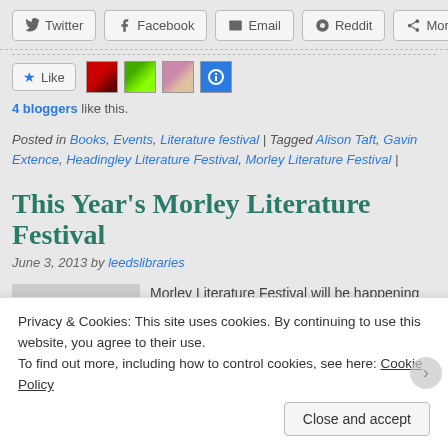[Figure (screenshot): Social sharing buttons row: Twitter, Facebook, Email, Reddit, More]
[Figure (screenshot): Like button with 4 blogger avatars]
4 bloggers like this.
Posted in Books, Events, Literature festival | Tagged Alison Taft, Gavin Extence, Headingley Literature Festival, Morley Literature Festival |
This Year's Morley Literature Festival
June 3, 2013 by leedslibraries
Morley Literature Festival will be happening
Privacy & Cookies: This site uses cookies. By continuing to use this website, you agree to their use.
To find out more, including how to control cookies, see here: Cookie Policy
Close and accept